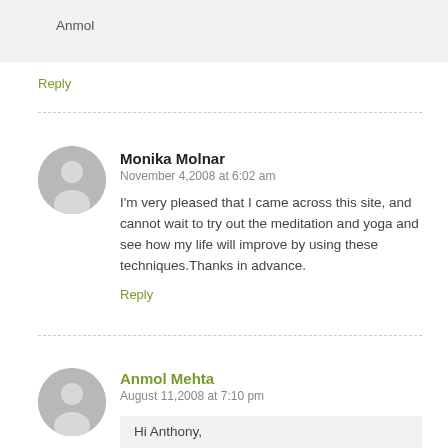Anmol
Reply
Monika Molnar
November 4,2008 at 6:02 am
I'm very pleased that I came across this site, and cannot wait to try out the meditation and yoga and see how my life will improve by using these techniques.Thanks in advance.
Reply
Anmol Mehta
August 11,2008 at 7:10 pm
Hi Anthony,